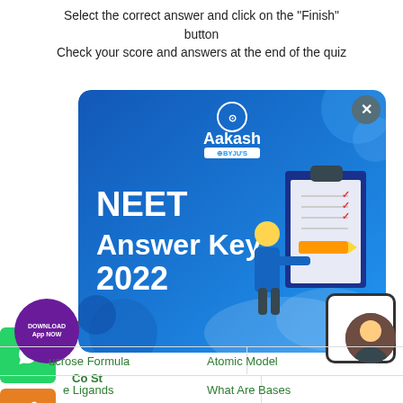Select the correct answer and click on the “Finish” button
Check your score and answers at the end of the quiz
[Figure (screenshot): Aakash BYJU'S advertisement banner showing 'NEET Answer Key 2022' with a cartoon figure holding a pencil next to a clipboard with checkmarks. Blue gradient background with decorative circles. Has a close (X) button in top-right corner.]
Co St
Exam
Polys
Hi there! Got any questions?
I can help you...
Down
DOWNLOAD
App NOW
e Ligands
What Are Bases
ucrose Formula
Atomic Model